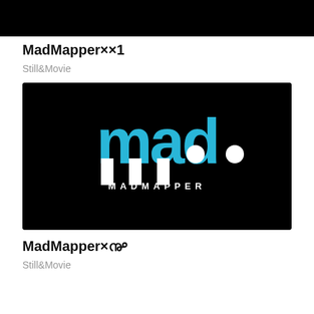[Figure (screenshot): Black rectangle image at the top of the page]
MadMapper××1
Still&Movie
[Figure (logo): MadMapper logo on black background: stylized 'mad' in cyan/white letters with MADMAPPER text below]
MadMapper××2
Still&Movie